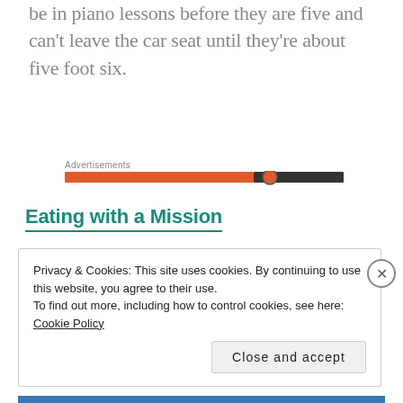be in piano lessons before they are five and can't leave the car seat until they're about five foot six.
Advertisements
[Figure (other): Advertisement banner with orange and dark gray horizontal bar with circular element]
Eating with a Mission
Privacy & Cookies: This site uses cookies. By continuing to use this website, you agree to their use.
To find out more, including how to control cookies, see here: Cookie Policy
Close and accept